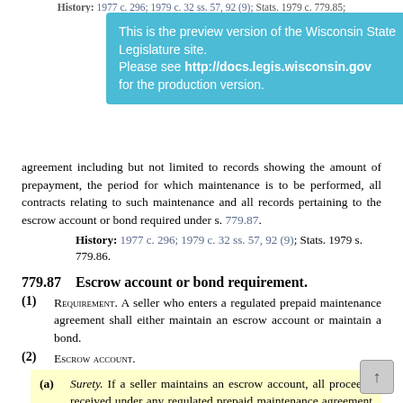History: 1977 c. 296; 1979 c. 32 ss. 57, 92 (9); Stats. 1979 c. 779.85;
[Figure (screenshot): Blue preview banner: 'This is the preview version of the Wisconsin State Legislature site. Please see http://docs.legis.wisconsin.gov for the production version.']
agreement including but not limited to records showing the amount of prepayment, the period for which maintenance is to be performed, all contracts relating to such maintenance and all records pertaining to the escrow account or bond required under s. 779.87.
History: 1977 c. 296; 1979 c. 32 ss. 57, 92 (9); Stats. 1979 s. 779.86.
779.87   Escrow account or bond requirement.
(1) REQUIREMENT. A seller who enters a regulated prepaid maintenance agreement shall either maintain an escrow account or maintain a bond.
(2) ESCROW ACCOUNT.
(a) Surety. If a seller maintains an escrow account, all proceeds received under any regulated prepaid maintenance agreement shall be deposited in the escrow account for the benefit of any customer who suffers a loss of prepayments for maintenance due to the bankruptcy or cessation of business by the seller.
(b) Not to be commingled. The seller shall not commingle the